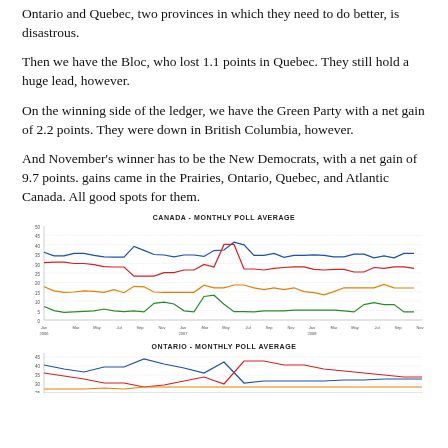Ontario and Quebec, two provinces in which they need to do better, is disastrous.
Then we have the Bloc, who lost 1.1 points in Quebec. They still hold a huge lead, however.
On the winning side of the ledger, we have the Green Party with a net gain of 2.2 points. They were down in British Columbia, however.
And November's winner has to be the New Democrats, with a net gain of 9.7 points. gains came in the Prairies, Ontario, Quebec, and Atlantic Canada. All good spots for them.
[Figure (line-chart): Line chart showing monthly poll averages for Canada with multiple party lines (blue, red, orange, green) over time from 2006 onwards. Values range roughly from 7 to 42.]
[Figure (line-chart): Line chart showing monthly poll averages for Ontario with multiple party lines over time. Values partially visible at bottom of page.]